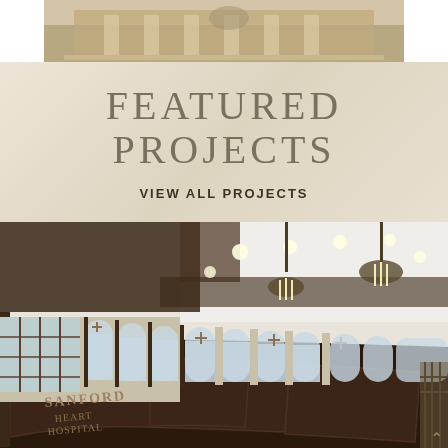[Figure (photo): Top cropped photo of a building exterior with classical architecture, columns and stairs visible]
FEATURED PROJECTS
VIEW ALL PROJECTS
[Figure (photo): Interior photo of Sanford Heart Hospital showing curved dark wood paneling with arched windows, cross decorations, and chandelier lighting in a grand rotunda-style lobby]